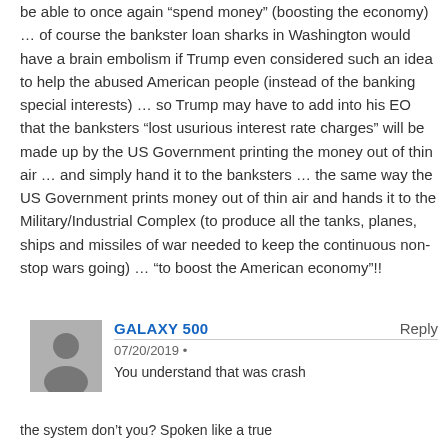be able to once again “spend money” (boosting the economy) … of course the bankster loan sharks in Washington would have a brain embolism if Trump even considered such an idea to help the abused American people (instead of the banking special interests) … so Trump may have to add into his EO that the banksters “lost usurious interest rate charges” will be made up by the US Government printing the money out of thin air … and simply hand it to the banksters … the same way the US Government prints money out of thin air and hands it to the Military/Industrial Complex (to produce all the tanks, planes, ships and missiles of war needed to keep the continuous non-stop wars going) … “to boost the American economy”!!
GALAXY 500 Reply 07/20/2019 • You understand that was crash the system don’t you? Spoken like a true